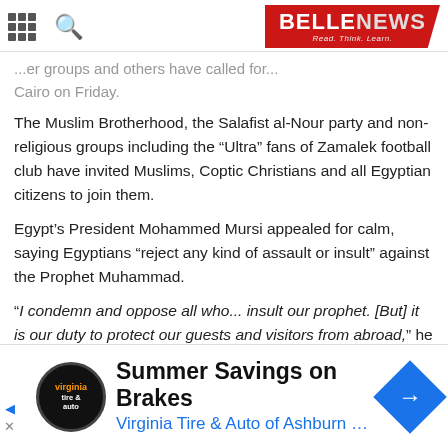BELLE NEWS - Read. Think. Learn.
...er groups and others have called for... Cairo on Friday.
The Muslim Brotherhood, the Salafist al-Nour party and non-religious groups including the "Ultra" fans of Zamalek football club have invited Muslims, Coptic Christians and all Egyptian citizens to join them.
Egypt's President Mohammed Mursi appealed for calm, saying Egyptians "reject any kind of assault or insult" against the Prophet Muhammad.
“I condemn and oppose all who... insult our prophet. [But] it is our duty to protect our guests and visitors from abroad,” he said in a statement broadcast by state media.
Summer Savings on Brakes
Virginia Tire & Auto of Ashburn …